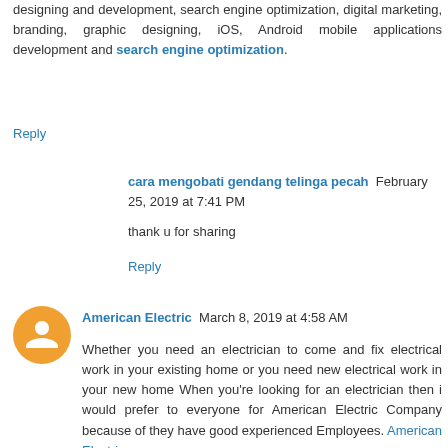designing and development, search engine optimization, digital marketing, branding, graphic designing, iOS, Android mobile applications development and search engine optimization.
Reply
cara mengobati gendang telinga pecah  February 25, 2019 at 7:41 PM
thank u for sharing
Reply
American Electric  March 8, 2019 at 4:58 AM
Whether you need an electrician to come and fix electrical work in your existing home or you need new electrical work in your new home When you're looking for an electrician then i would prefer to everyone for American Electric Company because of they have good experienced Employees. American Electric